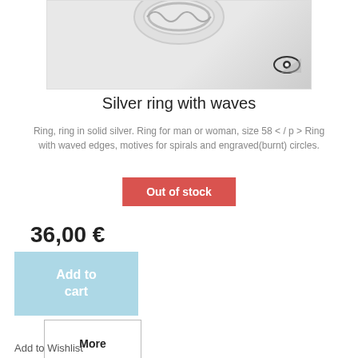[Figure (photo): Silver ring with waves product photo, partially visible at top of image. Light gray background with a watermark eye icon in the bottom right corner.]
Silver ring with waves
Ring, ring in solid silver. Ring for man or woman, size 58 < / p > Ring with waved edges, motives for spirals and engraved(burnt) circles.
Out of stock
36,00 €
Add to cart
More
Add to Wishlist